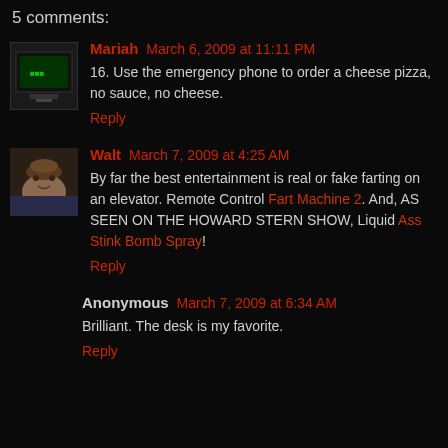5 comments:
Mariah March 6, 2009 at 11:11 PM
16. Use the emergency phone to order a cheese pizza, no sauce, no cheese.
Reply
Walt March 7, 2009 at 4:25 AM
By far the best entertainment is real or fake farting on an elevator. Remote Control Fart Machine 2. And, AS SEEN ON THE HOWARD STERN SHOW, Liquid Ass Stink Bomb Spray!
Reply
Anonymous March 7, 2009 at 6:34 AM
Brilliant. The desk is my favorite.
Reply